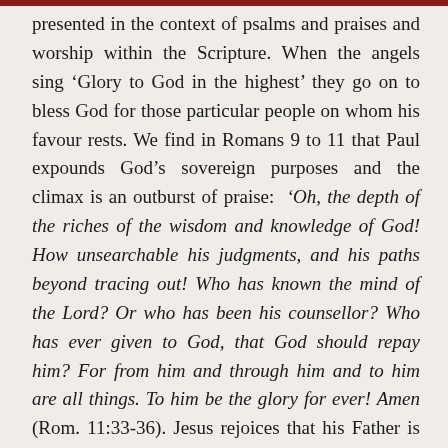presented in the context of psalms and praises and worship within the Scripture. When the angels sing 'Glory to God in the highest' they go on to bless God for those particular people on whom his favour rests. We find in Romans 9 to 11 that Paul expounds God's sovereign purposes and the climax is an outburst of praise: 'Oh, the depth of the riches of the wisdom and knowledge of God! How unsearchable his judgments, and his paths beyond tracing out! Who has known the mind of the Lord? Or who has been his counsellor? Who has ever given to God, that God should repay him? For from him and through him and to him are all things. To him be the glory for ever! Amen (Rom. 11:33-36). Jesus rejoices that his Father is in comprehensive control of this world. In other words, that God does not look away for five minutes and in that moment your husband finds another woman